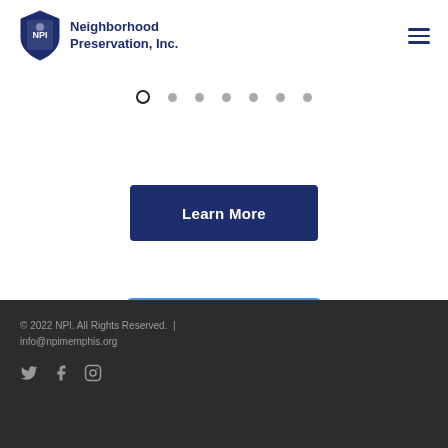[Figure (logo): Neighborhood Preservation Inc. logo with NPI shield icon and text]
[Figure (other): Hamburger menu icon (three horizontal lines)]
[Figure (other): Carousel navigation dots — 7 dots, first one active (outline circle), rest filled grey]
Learn More
Follow on Instagram
© 2022 NPI. All Rights Reserved. | info@npimemphis.org
[Figure (other): Social media icons: Twitter, Facebook, Instagram]